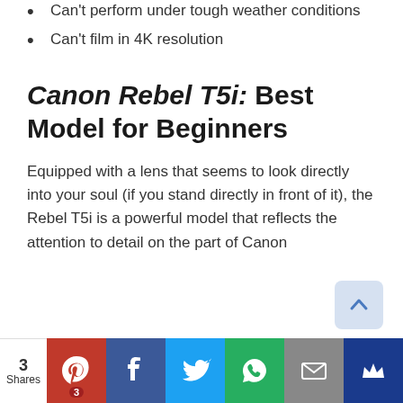Can't perform under tough weather conditions
Can't film in 4K resolution
Canon Rebel T5i: Best Model for Beginners
Equipped with a lens that seems to look directly into your soul (if you stand directly in front of it), the Rebel T5i is a powerful model that reflects the attention to detail on the part of Canon